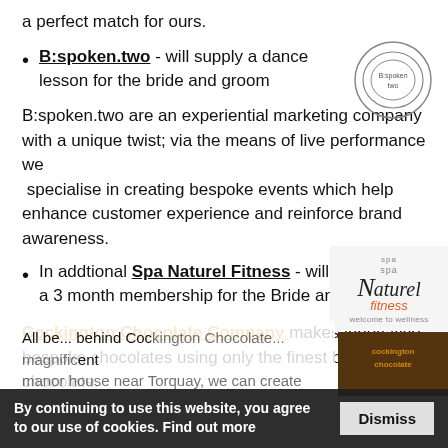a perfect match for ours.
B:spoken.two - will supply a dance lesson for the bride and groom
[Figure (logo): B:spoken two circular logo with concentric arcs]
B:spoken.two are an experiential marketing company with a unique twist; via the means of live performance we specialise in creating bespoke events which help enhance customer experience and reinforce brand awareness.
[Figure (logo): Spa Naturel Fitness logo - welcome to wellness]
In addtional Spa Naturel Fitness - will also supply a 3 month membership for the Bride and Groom.
Cockington Chocolate Company makes innovative, bespoke chocolates using only the finest belgian chocolate.
All be... behind Cockington Chocolate... magnificent manor house near Torquay, we can create
By continuing to use this website, you agree to our use of cookies. Find out more
Dismiss